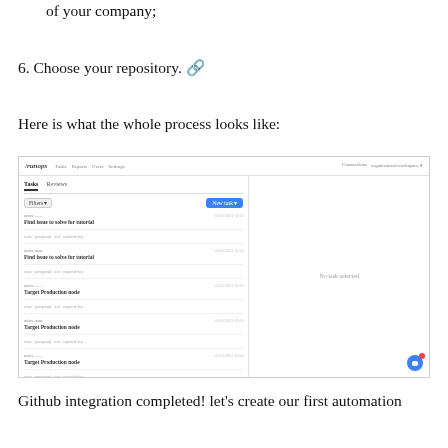5. Choose your organization or the organization of your company;
6. Choose your repository. 🔗
Here is what the whole process looks like:
[Figure (screenshot): Screenshot of a project management tool (appears to be Jira or similar) showing a task list interface with nav bar, filters, task rows with titles and metadata, a 'New task' blue button, and a right panel showing 'No task selected'. A chat bubble icon is visible in the bottom right corner.]
Github integration completed! let's create our first automation